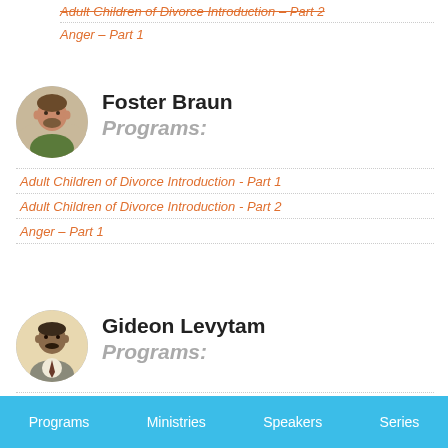Adult Children of Divorce Introduction – Part 2 (strikethrough)
Anger – Part 1
Foster Braun
Programs:
Adult Children of Divorce Introduction - Part 1
Adult Children of Divorce Introduction - Part 2
Anger – Part 1
Gideon Levytam
Programs:
Programs  Ministries  Speakers  Series